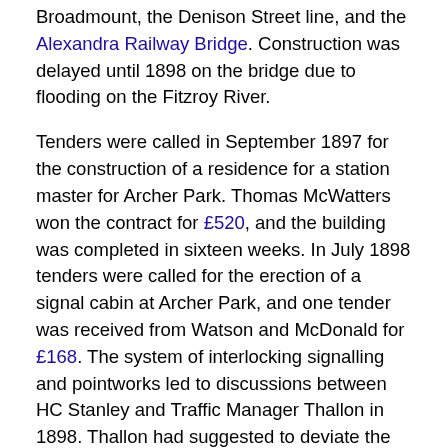Broadmount, the Denison Street line, and the Alexandra Railway Bridge. Construction was delayed until 1898 on the bridge due to flooding on the Fitzroy River.
Tenders were called in September 1897 for the construction of a residence for a station master for Archer Park. Thomas McWatters won the contract for £520, and the building was completed in sixteen weeks. In July 1898 tenders were called for the erection of a signal cabin at Archer Park, and one tender was received from Watson and McDonald for £168. The system of interlocking signalling and pointworks led to discussions between HC Stanley and Traffic Manager Thallon in 1898. Thallon had suggested to deviate the mainline so as to enter Archer Park railway station, to avoid running interlocking gear and signal wires along Denison Street. However the original plan to enable trains to run along Denison Street without entering Archer Park was retained.